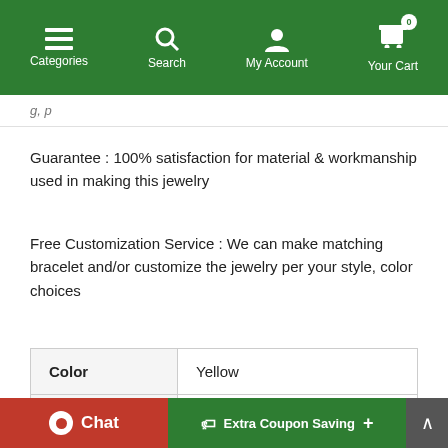Categories  Search  My Account  Your Cart (0)
Guarantee : 100% satisfaction for material & workmanship used in making this jewelry
Free Customization Service : We can make matching bracelet and/or customize the jewelry per your style, color choices
|  |  |
| --- | --- |
| Color | Yellow |
| SKU | NS1232 |
| Price | $13.25 |